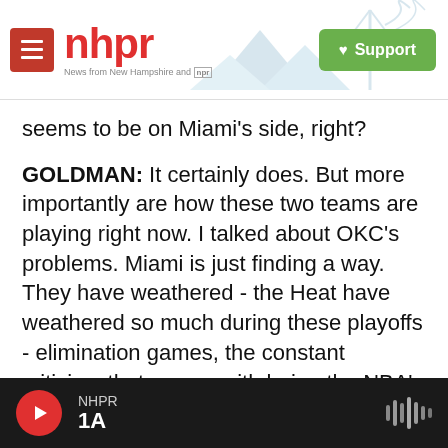[Figure (logo): NHPR logo with red menu button, red nhpr text, tagline 'News from New Hampshire and NPR', mountain/radio tower silhouette, and green Support button]
seems to be on Miami's side, right?
GOLDMAN: It certainly does. But more importantly are how these two teams are playing right now. I talked about OKC's problems. Miami is just finding a way. They have weathered - the Heat have weathered so much during these playoffs - elimination games, the constant criticism that comes with being the NBA's most hated team outside of Miami, Chris Bosh's injury, now LeBron's cramps. They've weathered that, and now James especially is within 48 minutes of his first elusive title. Hard to see the way he's playing, the way the
[Figure (screenshot): NHPR audio player bar at bottom: red circular play button, NHPR label and 1A program name, waveform icon on right, dark background]